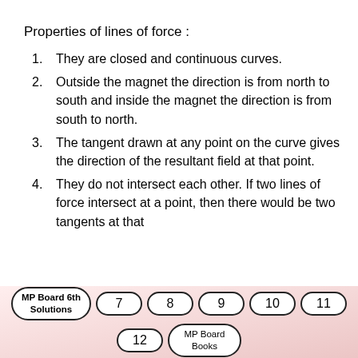Properties of lines of force :
They are closed and continuous curves.
Outside the magnet the direction is from north to south and inside the magnet the direction is from south to north.
The tangent drawn at any point on the curve gives the direction of the resultant field at that point.
They do not intersect each other. If two lines of force intersect at a point, then there would be two tangents at that
MP Board 6th Solutions  7  8  9  10  11  12  MP Board Books